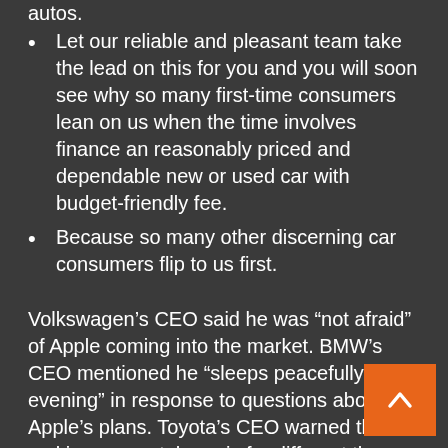autos.
Let our reliable and pleasant team take the lead on this for you and you will soon see why so many first-time consumers lean on us when the time involves finance an reasonably priced and dependable new or used car with budget-friendly fee.
Because so many other discerning car consumers flip to us first.
Volkswagen’s CEO said he was “not afraid” of Apple coming into the market. BMW’s CEO mentioned he “sleeps peacefully at evening” in response to questions about Apple’s plans. Toyota’s CEO warned that making a smartphone is far different than making a car. CarPlay, and a rival Android program, Android Aut aren’t car working methods. It’s really telephone software, stated Mark Fitzgerald, analyst at Strategy